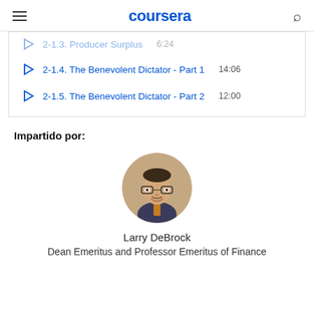coursera
2-1.3. Producer Surplus  6:24
2-1.4. The Benevolent Dictator - Part 1  14:06
2-1.5. The Benevolent Dictator - Part 2  12:00
Impartido por:
[Figure (photo): Circular profile photo of Larry DeBrock, a man wearing glasses, suit, and tie, smiling]
Larry DeBrock
Dean Emeritus and Professor Emeritus of Finance